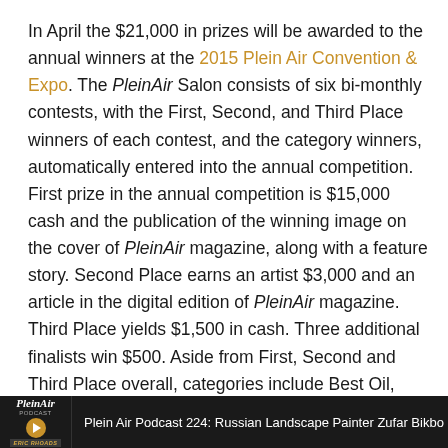In April the $21,000 in prizes will be awarded to the annual winners at the 2015 Plein Air Convention & Expo. The PleinAir Salon consists of six bi-monthly contests, with the First, Second, and Third Place winners of each contest, and the category winners, automatically entered into the annual competition. First prize in the annual competition is $15,000 cash and the publication of the winning image on the cover of PleinAir magazine, along with a feature story. Second Place earns an artist $3,000 and an article in the digital edition of PleinAir magazine. Third Place yields $1,500 in cash. Three additional finalists win $500. Aside from First, Second and Third Place overall, categories include Best Oil, Best Pastel, Best Watercolor, Best Acrylic, Best Plein Air, Best Building, Best Figure in the Landscape, Best Floral, Best Landscape, Best Outdoor Still Life, Best Nocturne, Best
Plein Air Podcast 224: Russian Landscape Painter Zufar Bikbo